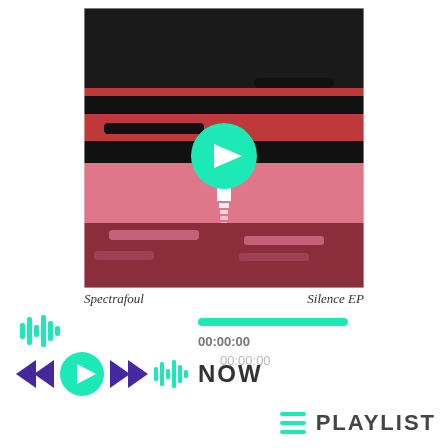[Figure (illustration): Album art for 'Silence EP' by Spectrafoul. Abstract landscape with dark background at top, red horizontal bands in the middle section, a green play button circle overlay in the center, a white vertical reflection on a pinkish lower half, and dark maroon bands at the bottom.]
Spectrafoul   Silence EP
[Figure (other): Animated audio waveform icon in teal/green color indicating currently playing audio]
[Figure (other): Media player controls: rewind (purple double-arrow left), play button (green circle with white play triangle), fast-forward (purple double-arrow right), audio waveform icon (green), NOW label (dark bold text). Progress bar in teal, time displays 00:00:00 (current) and 00:00:00 (total).]
NOW
00:00:00
00:00:00
PLAYLIST